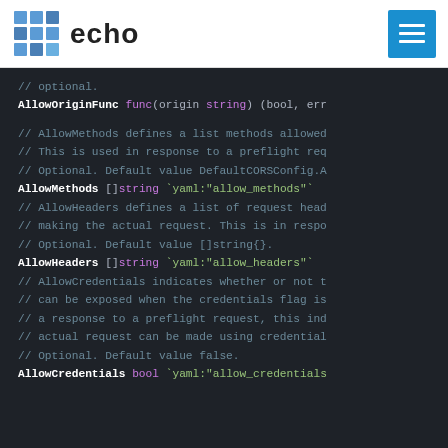echo
[Figure (screenshot): Go source code showing CORS config struct fields: AllowOriginFunc, AllowMethods, AllowHeaders, AllowCredentials with comments and yaml struct tags]
// optional.
AllowOriginFunc func(origin string) (bool, err

// AllowMethods defines a list methods allowed
// This is used in response to a preflight req
// Optional. Default value DefaultCORSConfig.A
AllowMethods []string `yaml:"allow_methods"`

// AllowHeaders defines a list of request head
// making the actual request. This is in respo
// Optional. Default value []string{}.
AllowHeaders []string `yaml:"allow_headers"`

// AllowCredentials indicates whether or not t
// can be exposed when the credentials flag is
// a response to a preflight request, this ind
// actual request can be made using credential
// Optional. Default value false.
AllowCredentials bool `yaml:"allow_credentials`